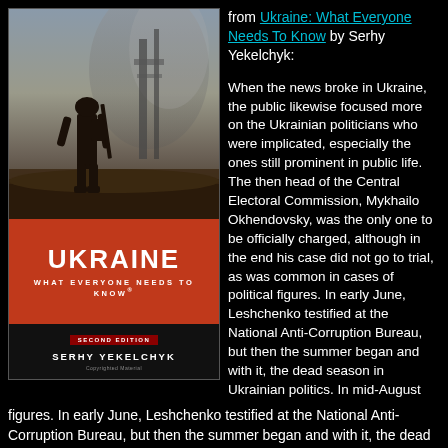from Ukraine: What Everyone Needs To Know by Serhy Yekelchyk:
[Figure (photo): Book cover of 'Ukraine: What Everyone Needs To Know' Second Edition by Serhy Yekelchyk, showing a soldier silhouette against an industrial background with red and black cover design.]
When the news broke in Ukraine, the public likewise focused more on the Ukrainian politicians who were implicated, especially the ones still prominent in public life. The then head of the Central Electoral Commission, Mykhailo Okhendovsky, was the only one to be officially charged, although in the end his case did not go to trial, as was common in cases of political figures. In early June, Leshchenko testified at the National Anti-Corruption Bureau, but then the summer began and with it, the dead season in Ukrainian politics. In mid-August Leshchenko broke some sensational news that was...